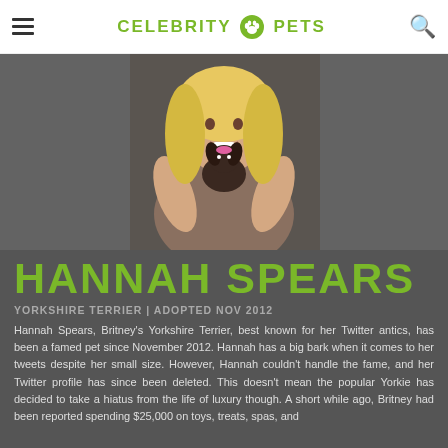CELEBRITY PETS
[Figure (photo): A woman with blonde wavy hair smiling and holding a small dark Yorkshire Terrier puppy wearing a pink bow, against a grey background.]
HANNAH SPEARS
YORKSHIRE TERRIER | ADOPTED NOV 2012
Hannah Spears, Britney's Yorkshire Terrier, best known for her Twitter antics, has been a famed pet since November 2012. Hannah has a big bark when it comes to her tweets despite her small size. However, Hannah couldn't handle the fame, and her Twitter profile has since been deleted. This doesn't mean the popular Yorkie has decided to take a hiatus from the life of luxury though. A short while ago, Britney had been reported spending $25,000 on toys, treats, spas, and